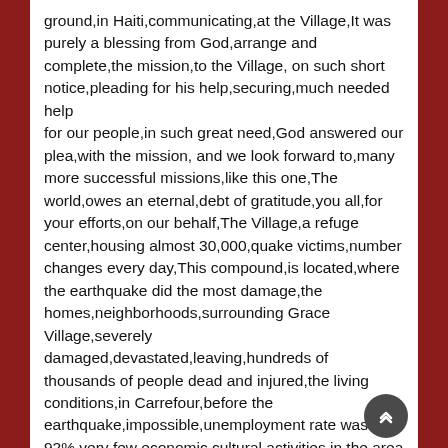ground,in Haiti,communicating,at the Village,It was purely a blessing from God,arrange and complete,the mission,to the Village, on such short notice,pleading for his help,securing,much needed help for our people,in such great need,God answered our plea,with the mission, and we look forward to,many more successful missions,like this one,The world,owes an eternal,debt of gratitude,you all,for your efforts,on our behalf,The Village,a refuge center,housing almost 30,000,quake victims,number changes every day,This compound,is located,where the earthquake did the most damage,the homes,neighborhoods,surrounding Grace Village,severely damaged,devastated,leaving,hundreds of thousands of people dead and injured,the living conditions,in Carrefour,before the earthquake,impossible,unemployment rate was 92%,very few economic,cultural activities,in the area to improve the living conditions,The population, larger than the services,that are available,to meet the needs of the people,there is nothing for them now, Carrefour, established, National, International Institutions of